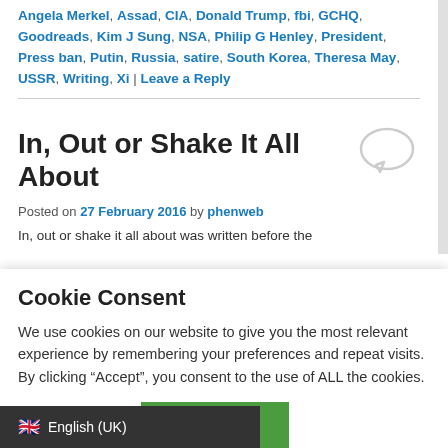Angela Merkel, Assad, CIA, Donald Trump, fbi, GCHQ, Goodreads, Kim J Sung, NSA, Philip G Henley, President, Press ban, Putin, Russia, satire, South Korea, Theresa May, USSR, Writing, Xi | Leave a Reply
In, Out or Shake It All About
Posted on 27 February 2016 by phenweb
In, out or shake it all about was written before the
Cookie Consent
We use cookies on our website to give you the most relevant experience by remembering your preferences and repeat visits. By clicking “Accept”, you consent to the use of ALL the cookies.
Cookie settings  ACCEPT
English (UK)